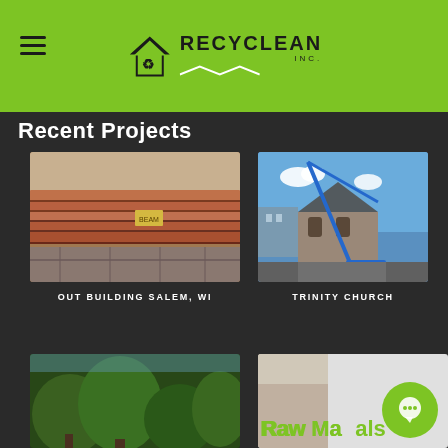Recyclean Inc. - Recent Projects
Recent Projects
[Figure (photo): Stacked wooden beams and stone blocks at a construction/salvage site in Salem, WI]
OUT BUILDING SALEM, WI
[Figure (photo): Demolition crane working on Trinity Church stone building under blue sky]
TRINITY CHURCH
[Figure (photo): Partial view of a wooded/green area project]
[Figure (photo): Raw Materials section with chat bubble overlay]
Raw Materials